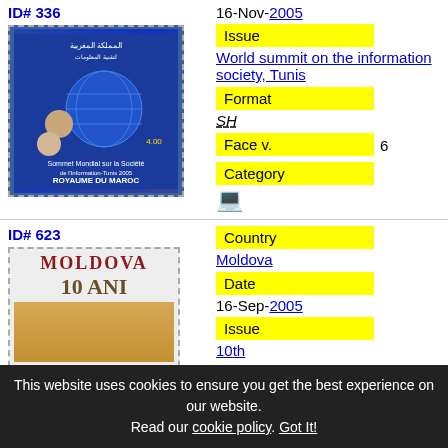16-Nov-2005
ID# 336
[Figure (photo): Morocco postage stamp featuring the World Summit on the Information Society, Tunis 2005. Shows globe, people, technology imagery. Text: ROYAUME DU MAROC]
Issue
World summit on the information society, Tunis
Format
SH
Face v.
6
Category
[Figure (illustration): Laptop computer icon]
Country
Moldova
Date
16-Sep-2005
Issue
10th
ID# 623
[Figure (photo): Moldova postage stamp with text MOLDOVA and 10 ANI]
This website uses cookies to ensure you get the best experience on our website. Read our cookie policy. Got It!